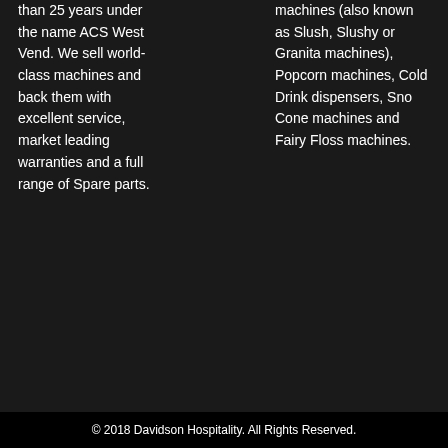than 25 years under the name ACS West Vend. We sell world-class machines and back them with excellent service, market leading warranties and a full range of Spare parts.
machines (also known as Slush, Slushy or Granita machines), Popcorn machines, Cold Drink dispensers, Sno Cone machines and Fairy Floss machines.
© 2018 Davidson Hospitality. All Rights Reserved.